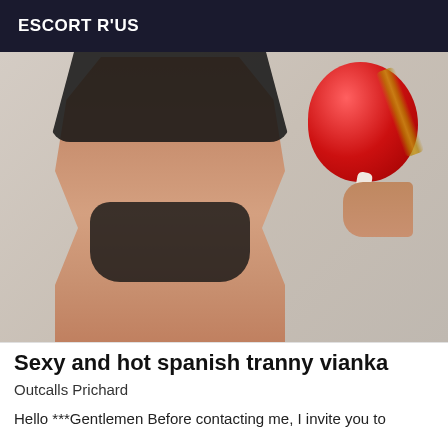ESCORT R'US
[Figure (photo): Cropped photo of a person in black lingerie holding a red balloon, photographed from neck to thighs against a light gray background.]
Sexy and hot spanish tranny vianka
Outcalls Prichard
Hello ***Gentlemen Before contacting me, I invite you to